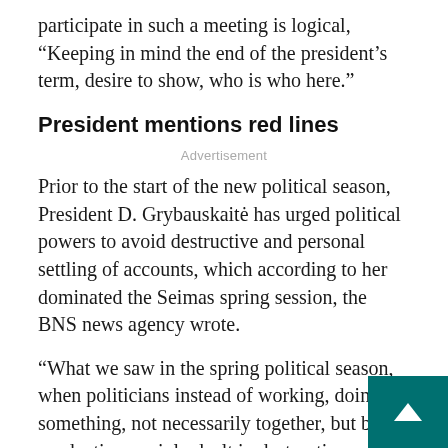participate in such a meeting is logical, “Keeping in mind the end of the president’s term, desire to show, who is who here.”
President mentions red lines
Advertisement
Prior to the start of the new political season, President D. Grybauskaitė has urged political powers to avoid destructive and personal settling of accounts, which according to her dominated the Seimas spring session, the BNS news agency wrote.
“What we saw in the spring political season, when politicians instead of working, doing something, not necessarily together, but being productive, mainly dealt in destructive revenge taking, rais political turmoil, settling accounts. (...) And if our